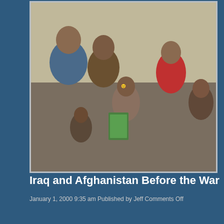[Figure (photo): Group photo of several people including young men and children, one child holding a book or card, taken outdoors in what appears to be a Middle Eastern setting]
Iraq and Afghanistan Before the War
January 1, 2000 9:35 am Published by Jeff Comments Off
[Figure (photo): An impala or gazelle standing in a grassy savanna landscape with trees and what appear to be elephants in the background]
Africa 2000